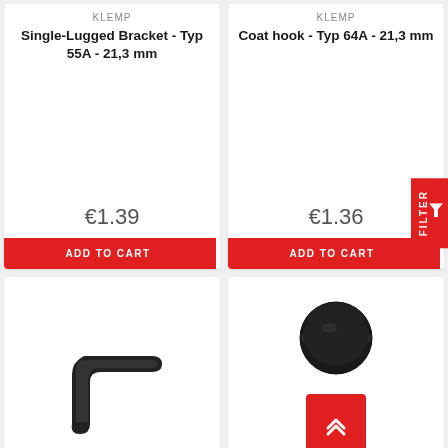KLEMP
Single-Lugged Bracket - Typ 55A - 21,3 mm
€1.39
ADD TO CART
KLEMP
Coat hook - Typ 64A - 21,3 mm
€1.36
ADD TO CART
[Figure (photo): Black hex/Allen key wrench]
KLEMP
[Figure (photo): Black circular rubber/plastic cap plug]
KLEMP